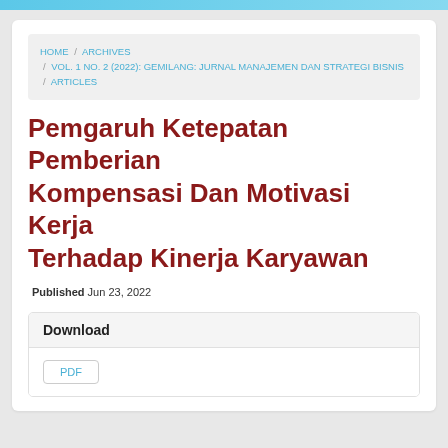HOME / ARCHIVES / VOL. 1 NO. 2 (2022): GEMILANG: JURNAL MANAJEMEN DAN STRATEGI BISNIS / ARTICLES
Pemgaruh Ketepatan Pemberian Kompensasi Dan Motivasi Kerja Terhadap Kinerja Karyawan
Published Jun 23, 2022
Download
PDF